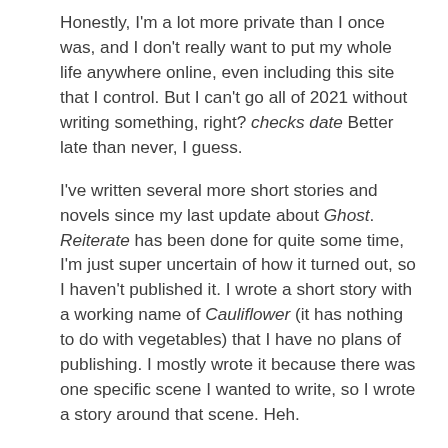Honestly, I'm a lot more private than I once was, and I don't really want to put my whole life anywhere online, even including this site that I control. But I can't go all of 2021 without writing something, right? checks date Better late than never, I guess.
I've written several more short stories and novels since my last update about Ghost. Reiterate has been done for quite some time, I'm just super uncertain of how it turned out, so I haven't published it. I wrote a short story with a working name of Cauliflower (it has nothing to do with vegetables) that I have no plans of publishing. I mostly wrote it because there was one specific scene I wanted to write, so I wrote a story around that scene. Heh.
My biggest project has been a novel called The Storm. I